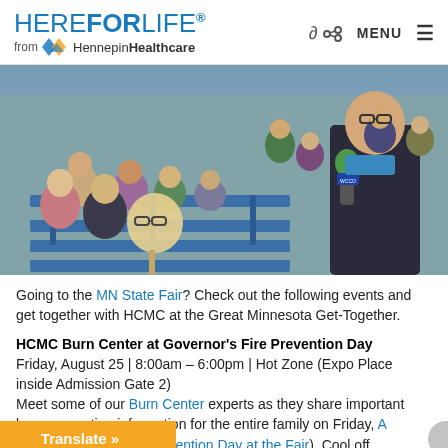HEREFORLIFE. from Hennepin Healthcare
[Figure (photo): Outdoor photo at Minnesota State Fair showing a group of people sitting on blue benches with a reporter holding a WCCO microphone on the right side.]
Going to the MN State Fair? Check out the following events and get together with HCMC at the Great Minnesota Get-Together.
HCMC Burn Center at Governor's Fire Prevention Day
Friday, August 25 | 8:00am – 6:00pm | Hot Zone (Expo Place inside Admission Gate 2)
Meet some of our Burn Center experts as they share important burn prevention information for the entire family on Friday, August (Governor's Fire Prevention Day at the Fair). Cool off